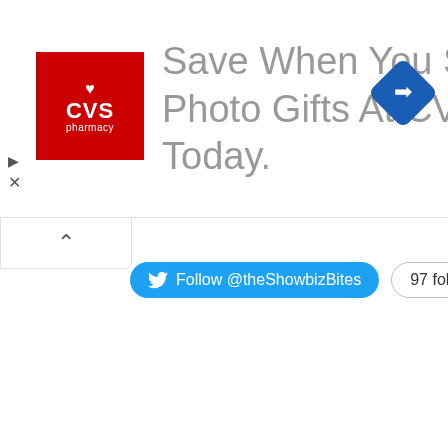[Figure (screenshot): CVS Pharmacy advertisement banner with red CVS pharmacy logo on left and ad text reading 'Save When You Shop For Photo Gifts At CVS. Find Deals Today.' in gray. A blue diamond navigation arrow appears on the right side.]
[Figure (screenshot): Twitter Follow button widget showing 'Follow @theShowbizBites' in a blue pill-shaped button with Twitter bird icon, next to a '97 followers' badge in a rounded rectangle border.]